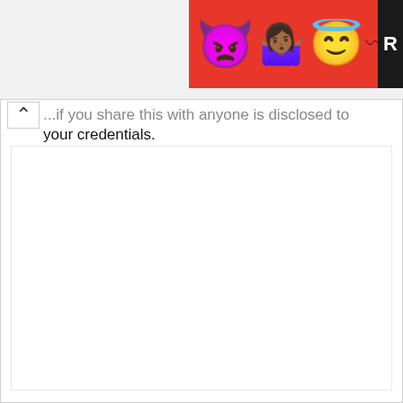[Figure (screenshot): Partial ad banner with red background showing emoji characters (devil, woman shrugging, angel) and a dark R label on the right edge]
...if you share this with anyone is disclosed to your credentials.